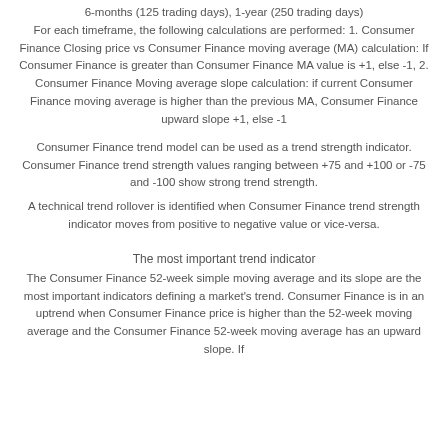6-months (125 trading days), 1-year (250 trading days) For each timeframe, the following calculations are performed: 1. Consumer Finance Closing price vs Consumer Finance moving average (MA) calculation: If Consumer Finance is greater than Consumer Finance MA value is +1, else -1, 2. Consumer Finance Moving average slope calculation: if current Consumer Finance moving average is higher than the previous MA, Consumer Finance upward slope +1, else -1
Consumer Finance trend model can be used as a trend strength indicator. Consumer Finance trend strength values ranging between +75 and +100 or -75 and -100 show strong trend strength.
A technical trend rollover is identified when Consumer Finance trend strength indicator moves from positive to negative value or vice-versa.
The most important trend indicator
The Consumer Finance 52-week simple moving average and its slope are the most important indicators defining a market's trend. Consumer Finance is in an uptrend when Consumer Finance price is higher than the 52-week moving average and the Consumer Finance 52-week moving average has an upward slope. If